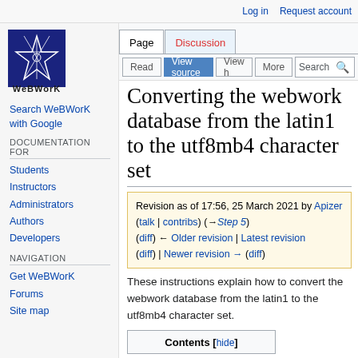Log in   Request account
[Figure (logo): WeBWorK logo: dark blue square with white star/compass rose graphic and 'WeBWorK' text below]
Search WeBWorK with Google
Documentation for
Students
Instructors
Administrators
Authors
Developers
NAVIGATION
Get WeBWorK
Forums
Site map
Converting the webwork database from the latin1 to the utf8mb4 character set
Revision as of 17:56, 25 March 2021 by Apizer (talk | contribs) (→Step 5) (diff) ← Older revision | Latest revision (diff) | Newer revision → (diff)
These instructions explain how to convert the webwork database from the latin1 to the utf8mb4 character set.
Contents [hide]